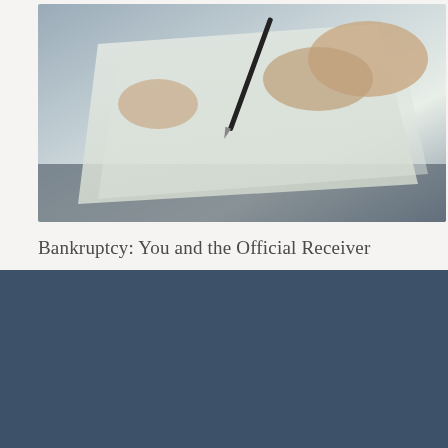[Figure (photo): Close-up photo of hands signing a document with a pen on paper, suggesting legal/financial document signing]
Bankruptcy: You and the Official Receiver
[Figure (logo): Dumonts Solicitors logo: white circular 'd' icon with gold inner element, vertical divider line, DUMONTS in large white text, Solicitors in white on gold/tan background bar]
[Figure (other): Social media icons: LinkedIn, Facebook, Instagram in white circles on dark blue-grey background]
act Us Live